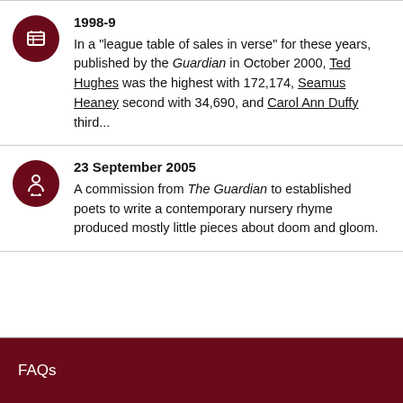1998-9
In a "league table of sales in verse" for these years, published by the Guardian in October 2000, Ted Hughes was the highest with 172,174, Seamus Heaney second with 34,690, and Carol Ann Duffy third...
23 September 2005
A commission from The Guardian to established poets to write a contemporary nursery rhyme produced mostly little pieces about doom and gloom.
FAQs